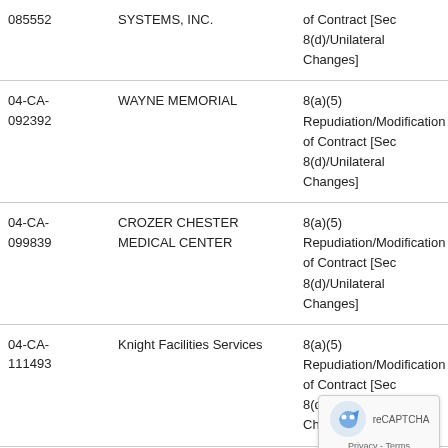| Case Number | Employer | Allegation |
| --- | --- | --- |
| 085552 | SYSTEMS, INC. | of Contract [Sec 8(d)/Unilateral Changes] |
| 04-CA-092392 | WAYNE MEMORIAL | 8(a)(5) Repudiation/Modification of Contract [Sec 8(d)/Unilateral Changes] |
| 04-CA-099839 | CROZER CHESTER MEDICAL CENTER | 8(a)(5) Repudiation/Modification of Contract [Sec 8(d)/Unilateral Changes] |
| 04-CA-111493 | Knight Facilities Services | 8(a)(5) Repudiation/Modification of Contract [Sec 8(d)/Unilateral Changes] |
| 04-CA-114258 | Knight Facilities Services | 8(a)(5) Repudiation/M... of Contract [Sec... |